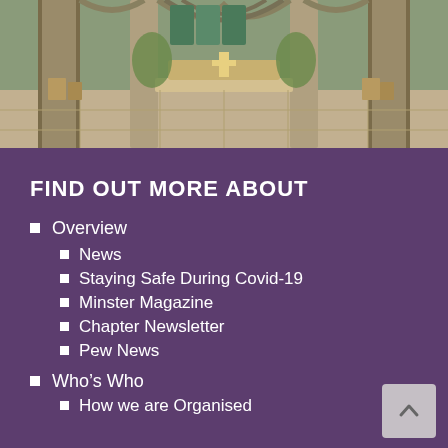[Figure (photo): Interior of a Gothic cathedral showing stone columns, ornate arched windows with stained glass, an altar in the background, and decorative elements including plants and wooden fixtures.]
FIND OUT MORE ABOUT
Overview
News
Staying Safe During Covid-19
Minster Magazine
Chapter Newsletter
Pew News
Who's Who
How we are Organised